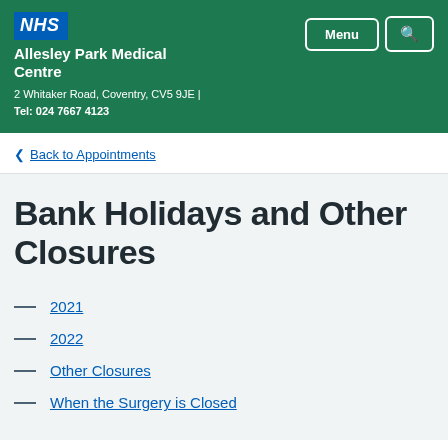NHS | Allesley Park Medical Centre | 2 Whitaker Road, Coventry, CV5 9JE | Tel: 024 7667 4123
< Back to Appointments
Bank Holidays and Other Closures
2021
2022
Other Closures
When the Surgery is Closed